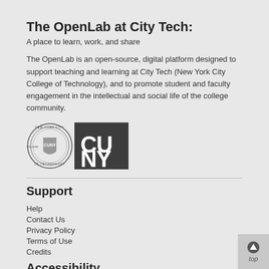The OpenLab at City Tech:
A place to learn, work, and share
The OpenLab is an open-source, digital platform designed to support teaching and learning at City Tech (New York City College of Technology), and to promote student and faculty engagement in the intellectual and social life of the college community.
[Figure (logo): New York City College of Technology seal/logo and CUNY logo side by side]
Support
Help
Contact Us
Privacy Policy
Terms of Use
Credits
Accessibility